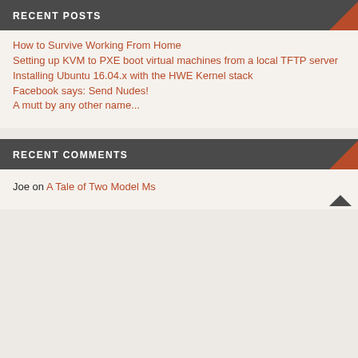RECENT POSTS
How to Survive Working From Home
Setting up KVM to PXE boot virtual machines from a local TFTP server
Installing Ubuntu 16.04.x with the HWE Kernel stack
Facebook says: Send Nudes!
A mutt by any other name...
RECENT COMMENTS
Joe on A Tale of Two Model Ms